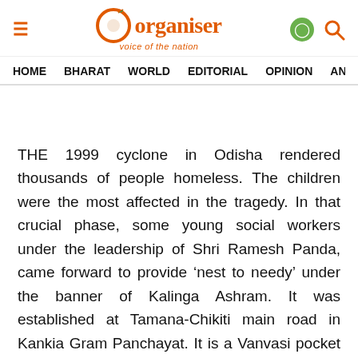Organiser — voice of the nation
HOME   BHARAT   WORLD   EDITORIAL   OPINION   ANA
THE 1999 cyclone in Odisha rendered thousands of people homeless. The children were the most affected in the tragedy. In that crucial phase, some young social workers under the leadership of Shri Ramesh Panda, came forward to provide 'nest to needy' under the banner of Kalinga Ashram. It was established at Tamana-Chikiti main road in Kankia Gram Panchayat. It is a Vanvasi pocket of Ganjam district.